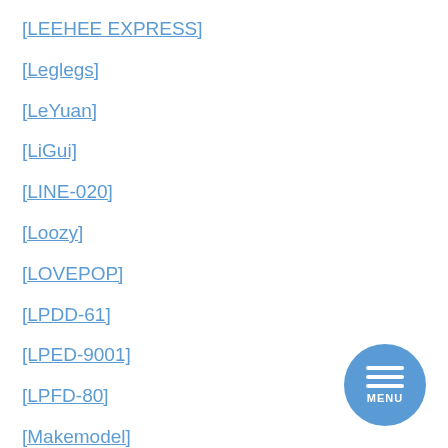[LEEHEE EXPRESS]
[Leglegs]
[LeYuan]
[LiGui]
[LINE-020]
[Loozy]
[LOVEPOP]
[LPDD-61]
[LPED-9001]
[LPFD-80]
[Makemodel]
[Maxi-247]